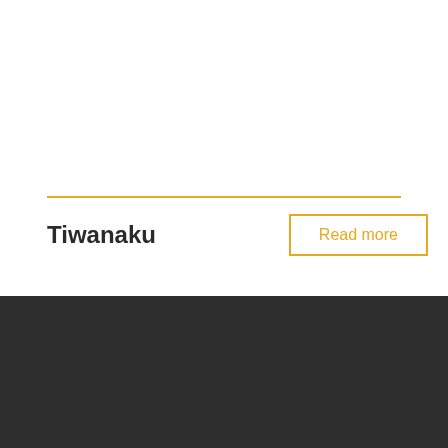Tiwanaku
Read more
Book your meeting
Book a meeting slot at